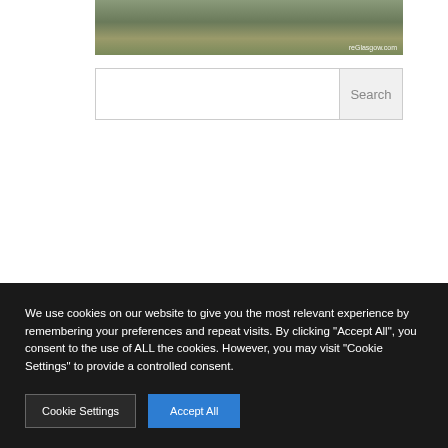[Figure (photo): Outdoor photo of a grassy/weedy area with rocks or rubble, watermark reading 'reGlasgow.com' in lower right]
Search
We use cookies on our website to give you the most relevant experience by remembering your preferences and repeat visits. By clicking "Accept All", you consent to the use of ALL the cookies. However, you may visit "Cookie Settings" to provide a controlled consent.
Cookie Settings
Accept All